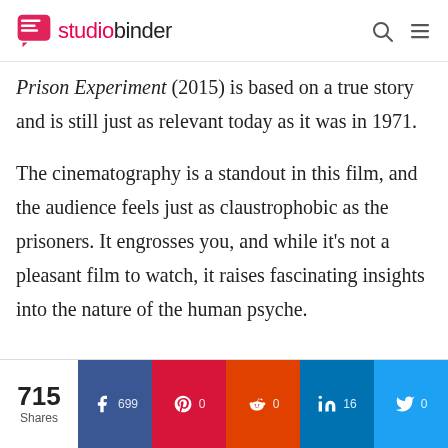studiobinder
Prison Experiment (2015) is based on a true story and is still just as relevant today as it was in 1971.
The cinematography is a standout in this film, and the audience feels just as claustrophobic as the prisoners. It engrosses you, and while it's not a pleasant film to watch, it raises fascinating insights into the nature of the human psyche.
715 Shares | Facebook 699 | Pinterest 0 | Reddit 0 | LinkedIn 16 | Twitter 0